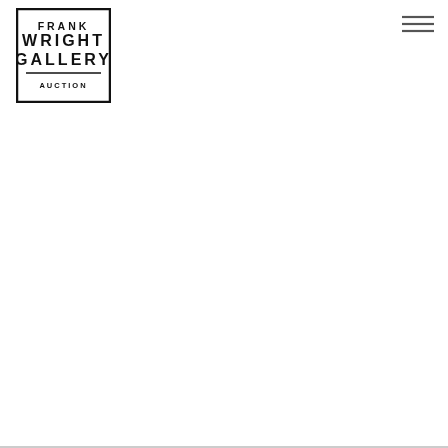[Figure (logo): Wright Gallery logo: bold condensed sans-serif text reading WRIGHT GALLERY inside a rectangular border]
[Figure (other): Hamburger menu icon: three horizontal lines stacked vertically, top-right corner]